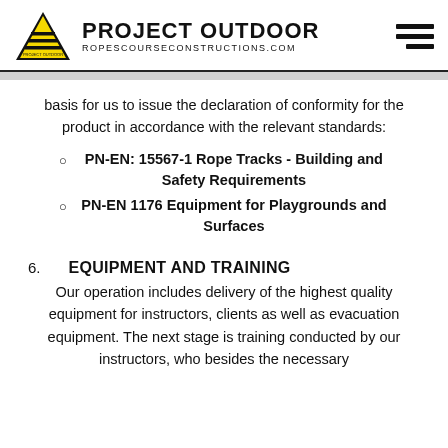PROJECT OUTDOOR — ROPESCOURSECONSTRUCTIONS.COM
basis for us to issue the declaration of conformity for the product in accordance with the relevant standards:
PN-EN: 15567-1 Rope Tracks - Building and Safety Requirements
PN-EN 1176 Equipment for Playgrounds and Surfaces
6. EQUIPMENT AND TRAINING
Our operation includes delivery of the highest quality equipment for instructors, clients as well as evacuation equipment. The next stage is training conducted by our instructors, who besides the necessary